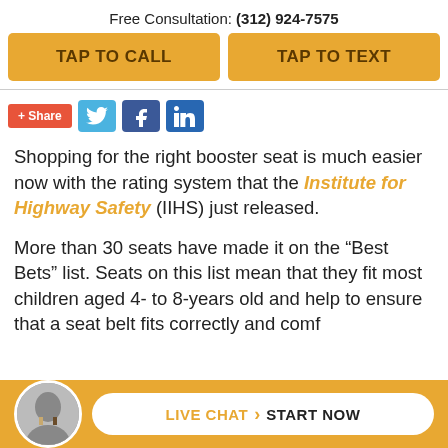Free Consultation: (312) 924-7575
TAP TO CALL
TAP TO TEXT
[Figure (infographic): Social sharing buttons: +Share, Twitter, Facebook, LinkedIn]
Shopping for the right booster seat is much easier now with the rating system that the Institute for Highway Safety (IIHS) just released.
More than 30 seats have made it on the “Best Bets” list. Seats on this list mean that they fit most children aged 4- to 8-years old and help to ensure that a seat belt fits correctly and comfortably c
[Figure (infographic): Live chat bar with avatar photo and LIVE CHAT > START NOW button]